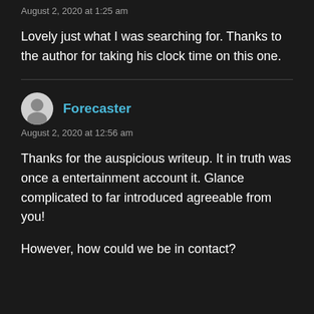August 2, 2020 at 1:25 am
Lovely just what I was searching for. Thanks to the author for taking his clock time on this one.
Forecaster
August 2, 2020 at 12:56 am
Thanks for the auspicious writeup. It in truth was once a entertainment account it. Glance complicated to far introduced agreeable from you!
However, how could we be in contact?